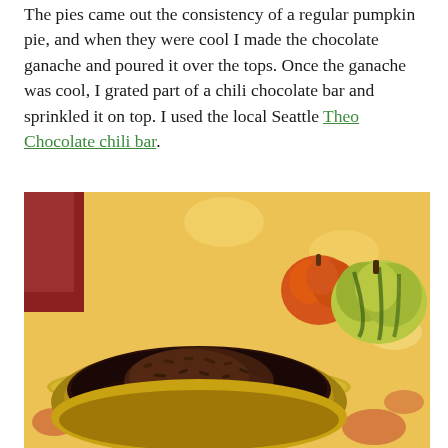The pies came out the consistency of a regular pumpkin pie, and when they were cool I made the chocolate ganache and poured it over the tops. Once the ganache was cool, I grated part of a chili chocolate bar and sprinkled it on top. I used the local Seattle Theo Chocolate chili bar.
[Figure (photo): A chocolate ganache pie with grated chocolate on top in a gold foil pie tin, sitting on a floral patterned tablecloth beside a small orange pumpkin and a green-and-yellow striped squash.]